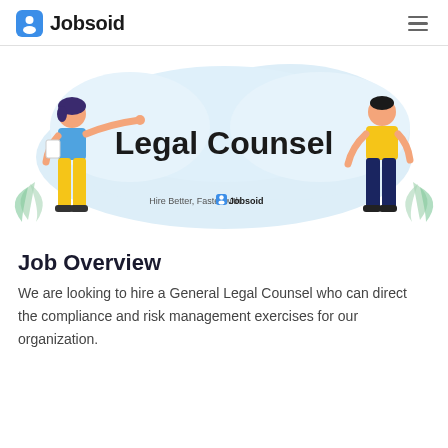Jobsoid
[Figure (illustration): Banner illustration for Legal Counsel job posting on Jobsoid. Light blue cloud-shaped background with cartoon figures: a woman in blue top and yellow pants on the left pointing, a man in yellow shirt and dark pants on the right. Center text: 'Legal Counsel' in large dark font. Bottom text: 'Hire Better, Faster with Jobsoid logo Jobsoid'.]
Job Overview
We are looking to hire a General Legal Counsel who can direct the compliance and risk management exercises for our organization.